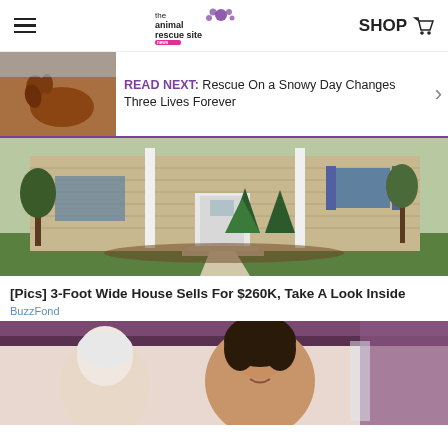the animal rescue site news | SHOP
[Figure (screenshot): READ NEXT: Rescue On a Snowy Day Changes Three Lives Forever - thumbnail of a brown dog]
READ NEXT: Rescue On a Snowy Day Changes Three Lives Forever
[Figure (photo): Exterior photo of a beige/tan house with white door, green shrubs, and lawn]
[Pics] 3-Foot Wide House Sells For $260K, Take A Look Inside
BuzzFond
[Figure (photo): Two people indoors — an older person with white hair and a younger woman with curly dark hair smiling]